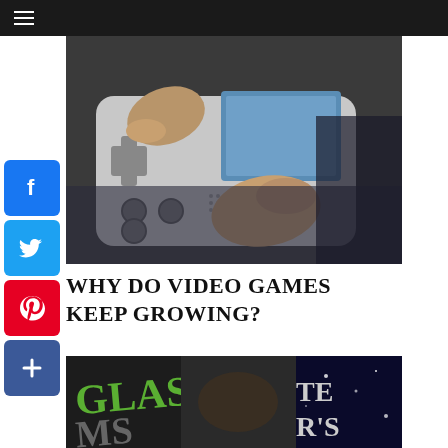[Figure (photo): Close-up photo of hands holding a Nintendo DS handheld game console, fingers on the D-pad and buttons]
WHY DO VIDEO GAMES KEEP GROWING?
[Figure (photo): Close-up photo of what appears to be a Douglas Adams book cover, partially visible text 'GLAS' and 'MS' and 'TE' and 'R'S']